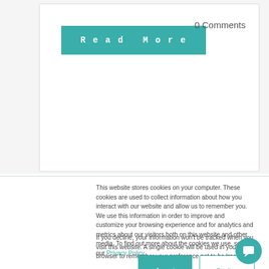[Figure (screenshot): A card section with a teal 'Read More' button and '0 Comments' text]
0 Comments
This website stores cookies on your computer. These cookies are used to collect information about how you interact with our website and allow us to remember you. We use this information in order to improve and customize your browsing experience and for analytics and metrics about our visitors both on this website and other media. To find out more about the cookies we use, see our Privacy Policy.
If you decline, your information won't be tracked when you visit this website. A single cookie will be used in your browser to remember your preference not to be tracked.
Accept
Decline